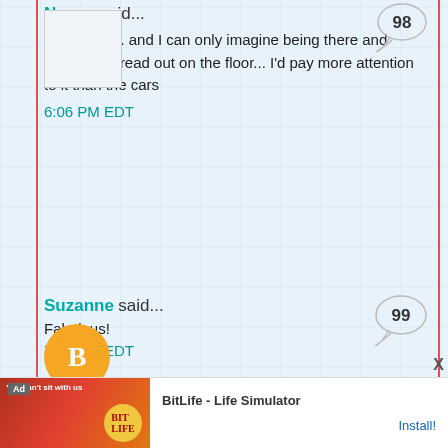Nancy said... it is lovely.... and I can only imagine being there and seeing it spread out on the floor... I'd pay more attention to it than the cars 6:06 PM EDT
Suzanne said... Fabulous! 7:15 PM EDT
Mary said... It is a wonder to behold all laid out like that. Congrats on getting to the end of this quilt's Journey! Hope the car is fixed up quick now. 7:28 PM EDT
Anonymous said...
[Figure (screenshot): Ad banner for BitLife - Life Simulator mobile game showing colorful game screenshots and Install button]